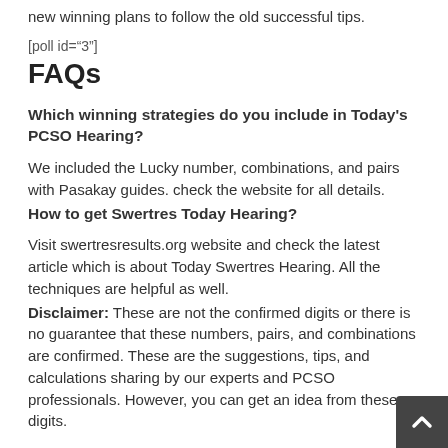new winning plans to follow the old successful tips.
[poll id="3"]
FAQs
Which winning strategies do you include in Today's PCSO Hearing?
We included the Lucky number, combinations, and pairs with Pasakay guides. check the website for all details.
How to get Swertres Today Hearing?
Visit swertresresults.org website and check the latest article which is about Today Swertres Hearing. All the techniques are helpful as well.
Disclaimer: These are not the confirmed digits or there is no guarantee that these numbers, pairs, and combinations are confirmed. These are the suggestions, tips, and calculations sharing by our experts and PCSO professionals. However, you can get an idea from these digits.